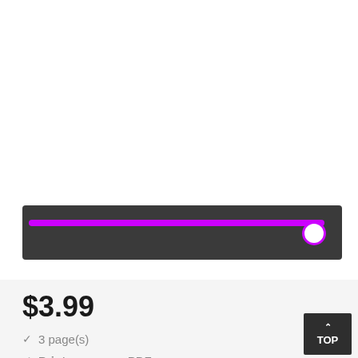[Figure (other): A dark gray horizontal slider bar with a bright purple/magenta track and a white circle thumb handle at the far right end]
$3.99
✓ 3 page(s)
✓ Print or save as PDF
TOP